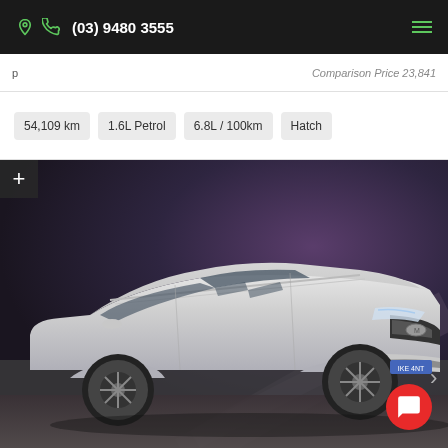(03) 9480 3555
Comparison Price 23,841
54,109 km
1.6L Petrol
6.8L / 100km
Hatch
[Figure (photo): Silver Mazda 6 wagon/hatch car shown in a dramatic setting with winding road background. The car is silver/light grey, shown from a front three-quarter angle, with roof rails, alloy wheels, and a Mazda badge visible. There is a + navigation button on the upper-left and a red chat button on the lower-right.]